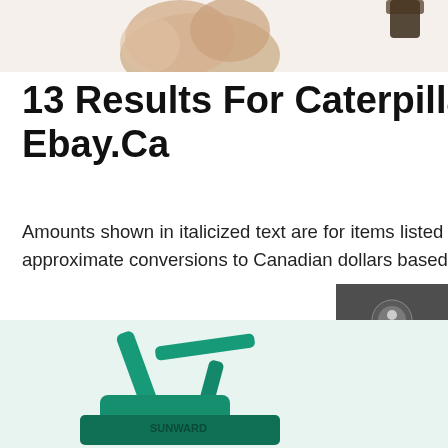[Figure (photo): Partial top image of an animal (appears to be a cat or similar) cropped at the top of the page, with a small dark object at upper right]
13 Results For Caterpillar 920 Loader - Ebay.Ca
Amounts shown in italicized text are for items listed in currency other than Canadian dollars and are approximate conversions to Canadian dollars based upon Bloomberg's conversion
[Figure (infographic): Dark grey sidebar panel with Chat (speech bubble icon), Email (envelope icon), and Contact (chat bubble icon) options separated by red dividers]
Get a Quote
[Figure (photo): Partial bottom image of a teal/green Sunward excavator construction machine]